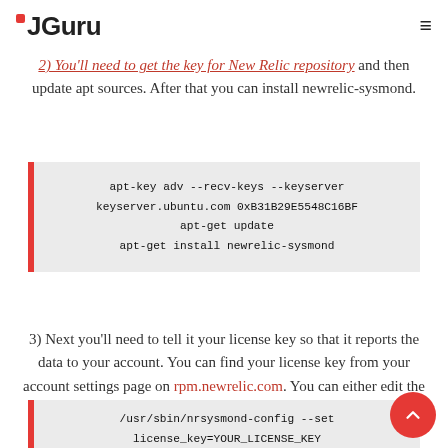JGuru
2) You'll need to get the key for New Relic repository and then update apt sources. After that you can install newrelic-sysmond.
apt-key adv --recv-keys --keyserver keyserver.ubuntu.com 0xB31B29E5548C16BF
apt-get update
apt-get install newrelic-sysmond
3) Next you'll need to tell it your license key so that it reports the data to your account. You can find your license key from your account settings page on rpm.newrelic.com. You can either edit the configuration file or you can set the license like shown below:
/usr/sbin/nrsysmond-config --set license_key=YOUR_LICENSE_KEY